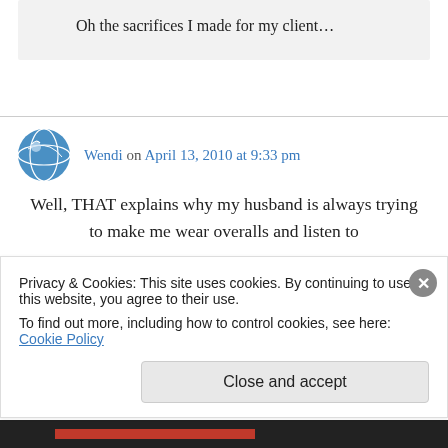Oh the sacrifices I made for my client…
Wendi on April 13, 2010 at 9:33 pm
Well, THAT explains why my husband is always trying to make me wear overalls and listen to
Privacy & Cookies: This site uses cookies. By continuing to use this website, you agree to their use. To find out more, including how to control cookies, see here: Cookie Policy
Close and accept